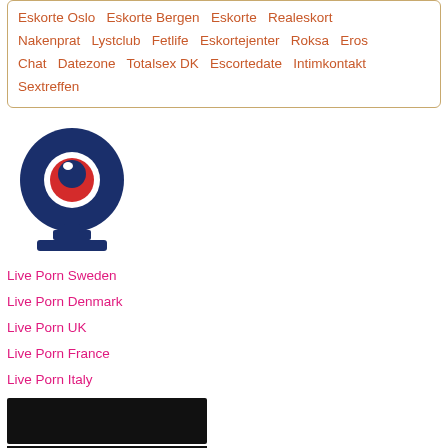Eskorte Oslo  Eskorte Bergen  Eskorte  Realeskort  Nakenprat  Lystclub  Fetlife  Eskortejenter  Roksa  Eros Chat  Datezone  Totalsex DK  Escortedate  Intimkontakt  Sextreffen
[Figure (illustration): Dark blue webcam icon with a red eye/lens symbol in the center and a base stand at the bottom]
Live Porn Sweden
Live Porn Denmark
Live Porn UK
Live Porn France
Live Porn Italy
[Figure (photo): Dark/black banner image]
[Figure (photo): Euro Girls advertisement banner with woman]